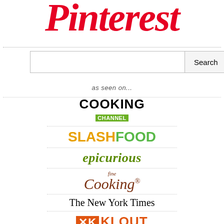[Figure (logo): Pinterest logo in red italic script font]
[Figure (screenshot): Search input box with Search button]
as seen on...
[Figure (logo): Cooking Channel logo]
[Figure (logo): SlashFood logo]
[Figure (logo): epicurious logo]
[Figure (logo): fine Cooking logo]
[Figure (logo): The New York Times logo]
[Figure (logo): KLOUT Most Influential logo]
[Figure (logo): Mashable 150 Most Influential logo]
[Figure (logo): Los Angeles Times logo]